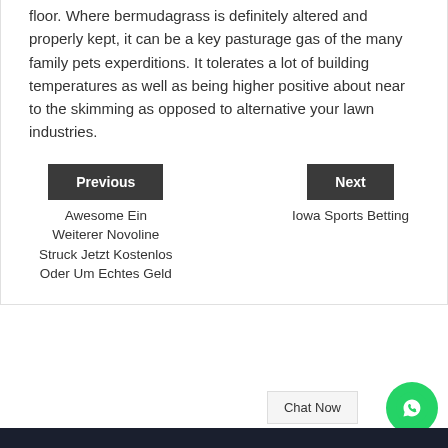floor. Where bermudagrass is definitely altered and properly kept, it can be a key pasturage gas of the many family pets experditions. It tolerates a lot of building temperatures as well as being higher positive about near to the skimming as opposed to alternative your lawn industries.
Previous: Awesome Ein Weiterer Novoline Struck Jetzt Kostenlos Oder Um Echtes Geld
Next: Iowa Sports Betting